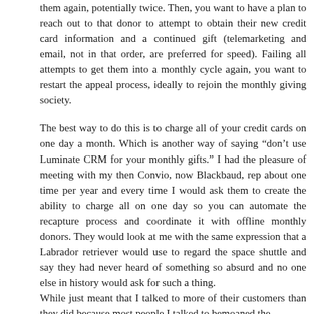them again, potentially twice.  Then, you want to have a plan to reach out to that donor to attempt to obtain their new credit card information and a continued gift (telemarketing and email, not in that order, are preferred for speed).  Failing all attempts to get them into a monthly cycle again, you want to restart the appeal process, ideally to rejoin the monthly giving society.
The best way to do this is to charge all of your credit cards on one day a month.  Which is another way of saying “don’t use Luminate CRM for your monthly gifts.”  I had the pleasure of meeting with my then Convio, now Blackbaud, rep about one time per year and every time I would ask them to create the ability to charge all on one day so you can automate the recapture process and coordinate it with offline monthly donors.  They would look at me with the same expression that a Labrador retriever would use to regard the space shuttle and say they had never heard of something so absurd and no one else in history would ask for such a thing.
While just meant that I talked to more of their customers than they did because most people I talked to bemoaned the